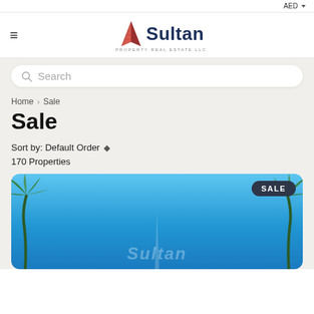AED
[Figure (logo): Sultan Property Real Estate LLC logo with red triangular sail icon and dark blue Sultan text]
Search
Home > Sale
Sale
Sort by: Default Order
170 Properties
[Figure (photo): Property listing card showing blue sky with palm trees and a SALE badge in the top right corner, Sultan watermark visible at bottom]